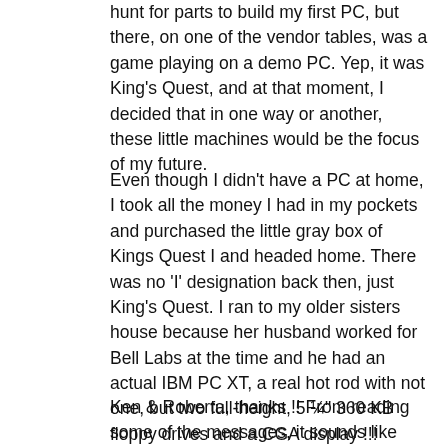hunt for parts to build my first PC, but there, on one of the vendor tables, was a game playing on a demo PC. Yep, it was King's Quest, and at that moment, I decided that in one way or another, these little machines would be the focus of my future.
Even though I didn't have a PC at home, I took all the money I had in my pockets and purchased the little gray box of Kings Quest I and headed home. There was no 'I' designation back then, just King's Quest. I ran to my older sisters house because her husband worked for Bell Labs at the time and he had an actual IBM PC XT, a real hot rod with not one, but two full-height, 5 ¼" 360 KB floppy drives and a CGA display !!! Anyway, I ripped open the package, my hands trembled with excitement as I flipped open the heavy spring-loaded drive door and slid the single floppy into the drive and flipped the switch !! Kings Quest came on a single bootable floppy back then. The rest, as we say, is history.
Ken & Roberta, thanks !! From reading some of the messages, it sounds like things perhaps did not work out the way you hoped, but you guys